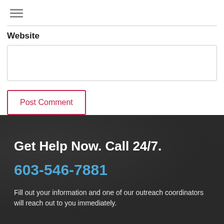[Figure (other): Hamburger menu icon (three horizontal lines)]
Website
[Figure (other): Website text input field (empty)]
[Figure (other): Post Comment button with red border and red text]
Get Help Now. Call 24/7.
603-546-7881
Fill out your information and one of our outreach coordinators will reach out to you immediately.